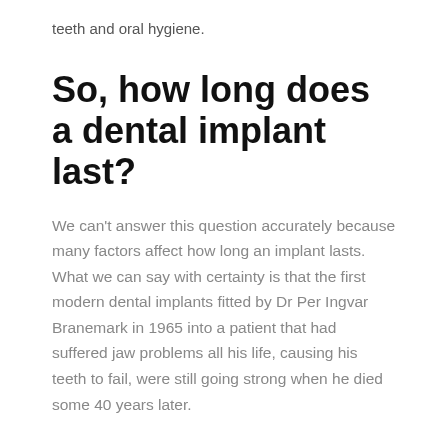teeth and oral hygiene.
So, how long does a dental implant last?
We can't answer this question accurately because many factors affect how long an implant lasts. What we can say with certainty is that the first modern dental implants fitted by Dr Per Ingvar Branemark in 1965 into a patient that had suffered jaw problems all his life, causing his teeth to fail, were still going strong when he died some 40 years later.
What affects the lifespan of a dental